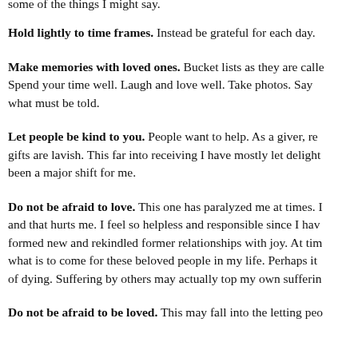some of the things I might say.
Hold lightly to time frames.  Instead be grateful for each day.
Make memories with loved ones.  Bucket lists as they are called. Spend your time well.  Laugh and love well.  Take photos.  Say what must be told.
Let people be kind to you.  People want to help.  As a giver, receiving gifts are lavish.  This far into receiving I have mostly let delight been a major shift for me.
Do not be afraid to love.  This one has paralyzed me at times.  and that hurts me.  I feel so helpless and responsible since I have formed new and rekindled former relationships with joy.  At times what is to come for these beloved people in my life.  Perhaps it of dying.  Suffering by others may actually top my own suffering.
Do not be afraid to be loved.  This may fall into the letting people